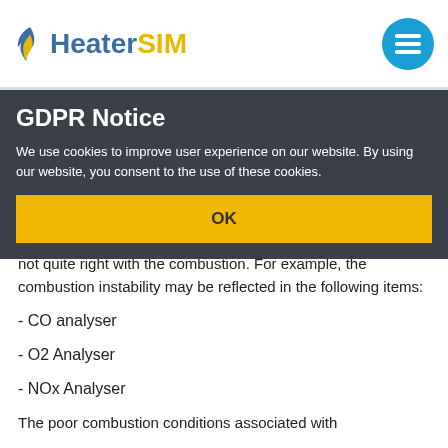HeaterSIM
GDPR Notice
We use cookies to improve user experience on our website. By using our website, you consent to the use of these cookies.
not quite right with the combustion. For example, the combustion instability may be reflected in the following items:
- CO analyser
- O2 Analyser
- NOx Analyser
The poor combustion conditions associated with